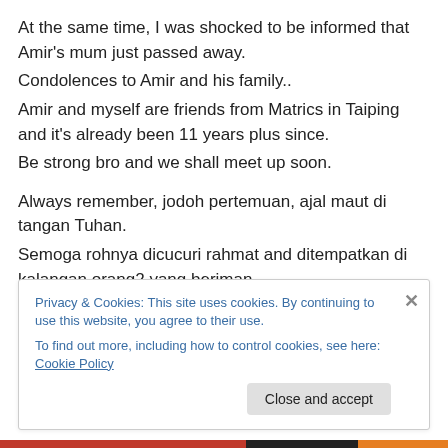At the same time, I was shocked to be informed that Amir's mum just passed away.
Condolences to Amir and his family..
Amir and myself are friends from Matrics in Taiping and it's already been 11 years plus since.
Be strong bro and we shall meet up soon.

Always remember, jodoh pertemuan, ajal maut di tangan Tuhan.
Semoga rohnya dicucuri rahmat and ditempatkan di kalangan orang2 yang beriman.
Privacy & Cookies: This site uses cookies. By continuing to use this website, you agree to their use.
To find out more, including how to control cookies, see here: Cookie Policy